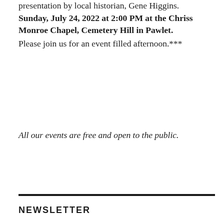presentation by local historian, Gene Higgins. Sunday, July 24, 2022 at 2:00 PM at the Chriss Monroe Chapel, Cemetery Hill in Pawlet. Please join us for an event filled afternoon.***
All our events are free and open to the public.
NEWSLETTER